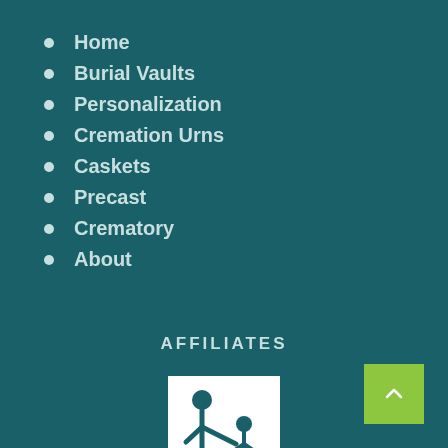Home
Burial Vaults
Personalization
Cremation Urns
Caskets
Precast
Crematory
About
AFFILIATES
[Figure (logo): Logo showing two figures, one adult helping a child, inside a rectangular border on white background]